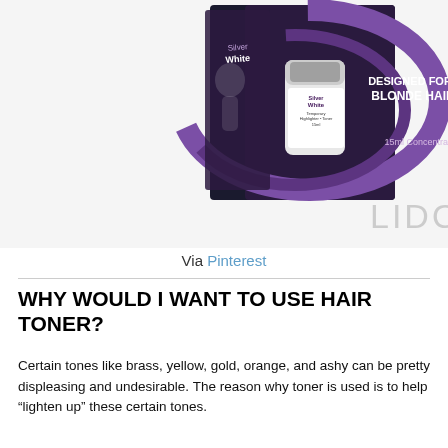[Figure (photo): Product photo of Silver White Temporary Highlighter Toner 15ml Concentrate, designed for blonde hair, shown in purple/black box packaging]
Via Pinterest
WHY WOULD I WANT TO USE HAIR TONER?
Certain tones like brass, yellow, gold, orange, and ashy can be pretty displeasing and undesirable. The reason why toner is used is to help “lighten up” these certain tones.
Toner is also very useful when it comes to “correcting” the texture of dyed hair. With proper use, you can easily soften any roughness and add a little bit more life to your hair.
Essentially toner is used to correct any imperfections and inconsistencies in hair color to achieve a more desirable hair dye job. It’s what can make the difference between